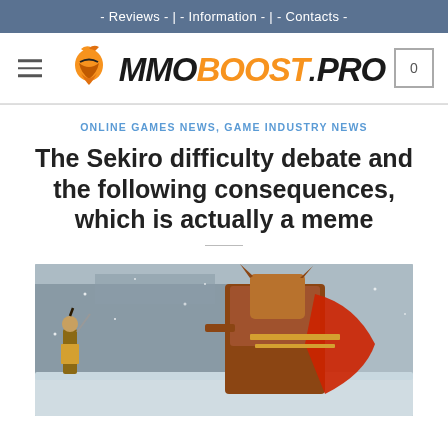- Reviews - | - Information - | - Contacts -
[Figure (logo): MMOBoost.Pro logo with orange spartan helmet icon and stylized text]
ONLINE GAMES NEWS, GAME INDUSTRY NEWS
The Sekiro difficulty debate and the following consequences, which is actually a meme
[Figure (photo): Sekiro: Shadows Die Twice game screenshot showing the main character facing a large armored boss enemy in a snowy environment]